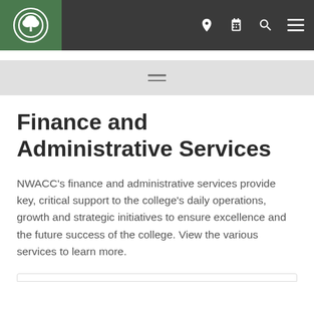Finance and Administrative Services - NWACC navigation header
Finance and Administrative Services
NWACC's finance and administrative services provide key, critical support to the college's daily operations, growth and strategic initiatives to ensure excellence and the future success of the college. View the various services to learn more.